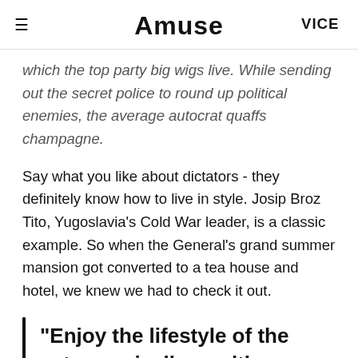Amuse | VICE
which the top party big wigs live. While sending out the secret police to round up political enemies, the average autocrat quaffs champagne.
Say what you like about dictators - they definitely know how to live in style. Josip Broz Tito, Yugoslavia's Cold War leader, is a classic example. So when the General's grand summer mansion got converted to a tea house and hotel, we knew we had to check it out.
"Enjoy the lifestyle of the astronomically wealthy autocrat,